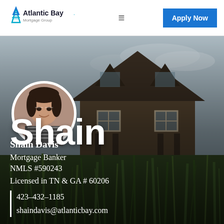[Figure (logo): Atlantic Bay Mortgage Group logo with blue star/triangle icon and company name]
=
Apply Now
[Figure (photo): Background photo of a house under construction with dark roof and white trim, surrounded by tall grass in the foreground. Circular profile photo of Shain Davis, a woman with dark hair smiling, overlaid on the left.]
Shain
Shain Davis
Mortgage Banker
NMLS #590243
Licensed in TN & GA # 60206
423-432-1185
shaindavis@atlanticbay.com